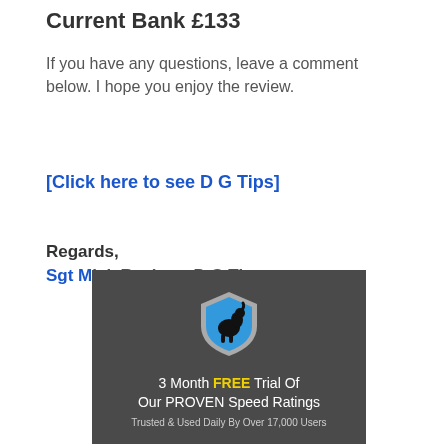Current Bank £133
If you have any questions, leave a comment below. I hope you enjoy the review.
[Click here to see D G Tips]
Regards,
Sgt Mick Reviews D G Tips
[Figure (illustration): Advertisement banner with a blue shield logo containing a horse silhouette. Text reads: '3 Month FREE Trial Of Our PROVEN Speed Ratings. Trusted & Used Daily By Over 17,000 Users']